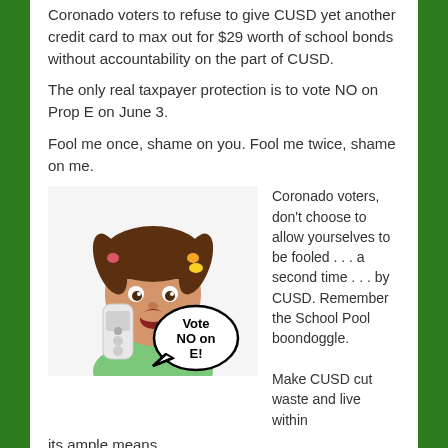Coronado voters to refuse to give CUSD yet another credit card to max out for $29 worth of school bonds without accountability on the part of CUSD.
The only real taxpayer protection is to vote NO on Prop E on June 3.
Fool me once, shame on you. Fool me twice, shame on me.
[Figure (photo): Young girl holding a telephone with a speech bubble that reads 'Vote NO on E!']
Coronado voters, don't choose to allow yourselves to be fooled . . . a second time . . . by CUSD. Remember the School Pool boondoggle.
Make CUSD cut waste and live within its ample means.